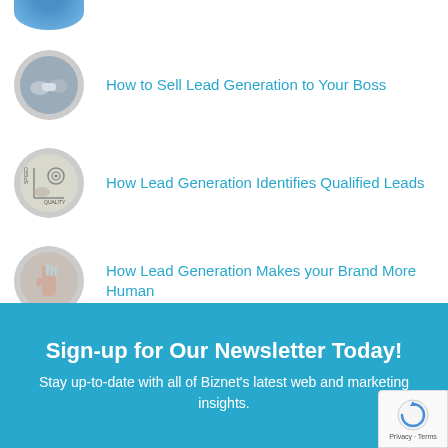How to Sell Lead Generation to Your Boss
How Lead Generation Identifies Qualified Leads
How Lead Generation Makes your Brand More Human
Sign-up for Our Newsletter Today!
Stay up-to-date with all of Biznet's latest web and marketing insights.